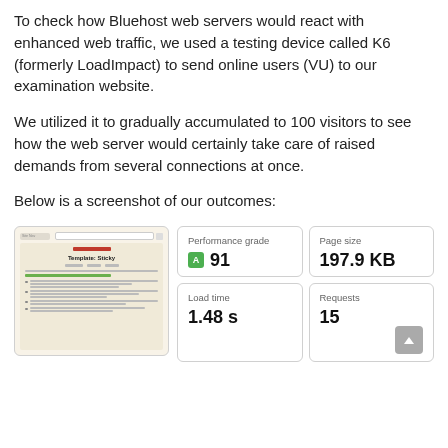To check how Bluehost web servers would react with enhanced web traffic, we used a testing device called K6 (formerly LoadImpact) to send online users (VU) to our examination website.
We utilized it to gradually accumulated to 100 visitors to see how the web server would certainly take care of raised demands from several connections at once.
Below is a screenshot of our outcomes:
[Figure (screenshot): Screenshot showing a webpage titled 'Template: Sticky' alongside performance metrics: Performance grade A 91, Page size 197.9 KB, Load time 1.48 s, Requests 15]